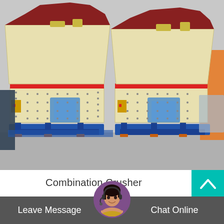[Figure (photo): Two large industrial combination crusher machines with cream/beige bodies, red stripe accents, and blue steel bases, photographed outdoors in a factory yard. Each machine has a broad body with bolted panels, red horizontal trim band, and sits on a heavy blue steel platform. Wrapped components visible between the machines.]
Combination Crusher
[Figure (photo): Customer service avatar: a woman wearing a headset, circular crop with purple border, overlaid on the footer bar.]
Leave Message   Chat Online